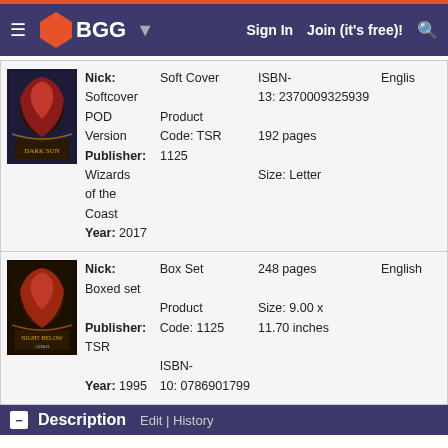BGG — Sign In  Join (it's free)!
| Cover | Details | Format | ISBN/Pages/Size | Language |
| --- | --- | --- | --- | --- |
| [image] | Nick: Softcover POD Version
Publisher: Wizards of the Coast
Year: 2017 | Soft Cover
Product Code: TSR 1125 | ISBN-13: 2370009325939
192 pages
Size: Letter | English |
| [image] | Nick: Boxed set
Publisher: TSR
Year: 1995 | Box Set
Product Code: 1125
ISBN-10: 0786901799 | 248 pages
Size: 9.00 x 11.70 inches | English |
Description  Edit | History
From the back of the box:

A missing mage...
A ruthless band of kidnappers...
A sinister conspiracy...

Night Below, the first epic campaign adventure for the AD&D game, is designed to take the player characters from 1st level to 10th level and beyond. The PCs start as beginning adventurers on a routine courier mission who soon become drawn into combating a sinister